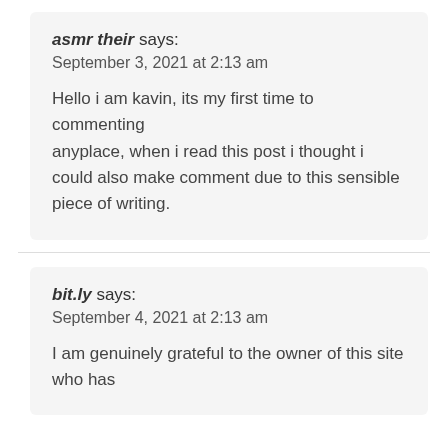asmr their says:
September 3, 2021 at 2:13 am

Hello i am kavin, its my first time to commenting anyplace, when i read this post i thought i could also make comment due to this sensible piece of writing.
bit.ly says:
September 4, 2021 at 2:13 am

I am genuinely grateful to the owner of this site who has